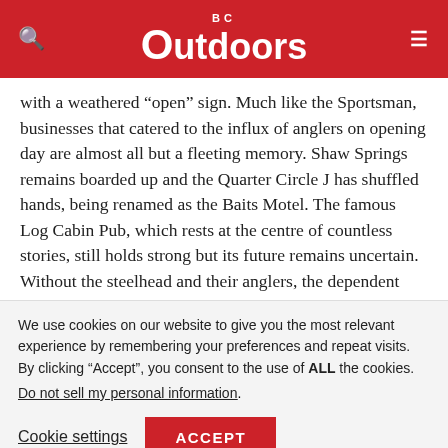BC Outdoors
with a weathered “open” sign. Much like the Sportsman, businesses that catered to the influx of anglers on opening day are almost all but a fleeting memory. Shaw Springs remains boarded up and the Quarter Circle J has shuffled hands, being renamed as the Baits Motel. The famous Log Cabin Pub, which rests at the centre of countless stories, still holds strong but its future remains uncertain. Without the steelhead and their anglers, the dependent economy of these precious highway
We use cookies on our website to give you the most relevant experience by remembering your preferences and repeat visits. By clicking “Accept”, you consent to the use of ALL the cookies.
Do not sell my personal information.
Cookie settings
ACCEPT